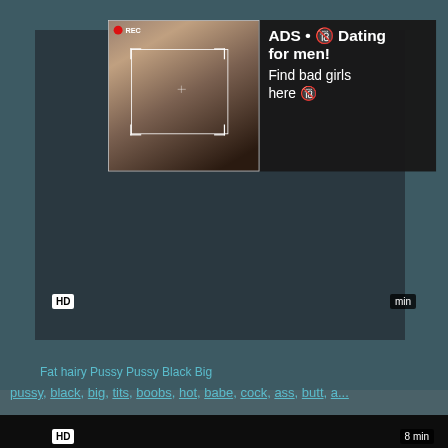[Figure (screenshot): Video thumbnail showing dark video area with HD badge and time indicator, with an advertisement overlay showing a woman taking a selfie. Ad text reads: ADS • Dating for men! Find bad girls here]
Fat hairy Pussy Pussy Black Big
pussy, black, big, tits, boobs, hot, babe, cock, ass, butt, a...
[Figure (screenshot): Dark/black video player area with HD badge bottom left and '8 min' badge bottom right]